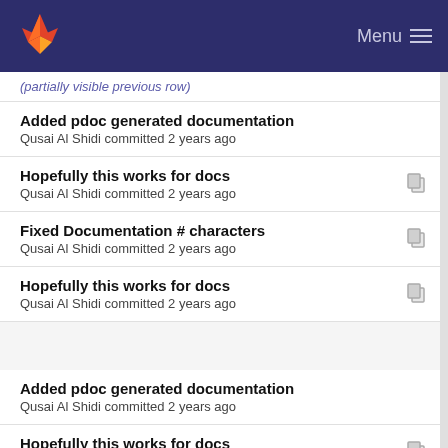Menu
Added pdoc generated documentation
Qusai Al Shidi committed 2 years ago
Hopefully this works for docs
Qusai Al Shidi committed 2 years ago
Fixed Documentation # characters
Qusai Al Shidi committed 2 years ago
Hopefully this works for docs
Qusai Al Shidi committed 2 years ago
Added pdoc generated documentation
Qusai Al Shidi committed 2 years ago
Hopefully this works for docs
Qusai Al Shidi committed 2 years ago
Oops documetnation fixed